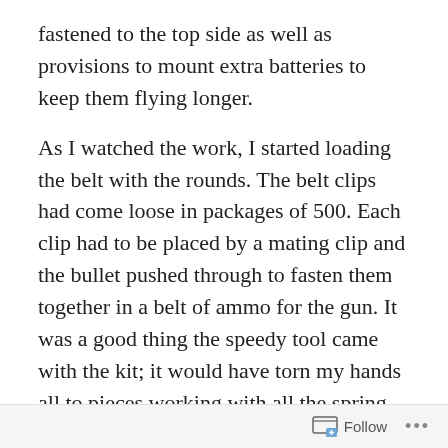fastened to the top side as well as provisions to mount extra batteries to keep them flying longer.
As I watched the work, I started loading the belt with the rounds. The belt clips had come loose in packages of 500. Each clip had to be placed by a mating clip and the bullet pushed through to fasten them together in a belt of ammo for the gun. It was a good thing the speedy tool came with the kit; it would have torn my hands all to pieces working with all the spring steel clips.
At Andy’s instruction I made several 10 round belts for test firing after everything was assembled
Andy and his helper fashioned a tray out of Lexan – a clear plastic more durable than Plexiglas. The tray had to
Follow